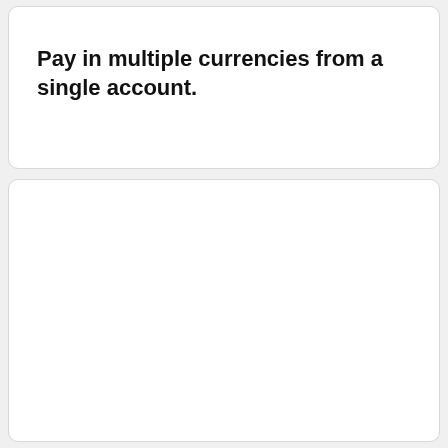Pay in multiple currencies from a single account.
[Figure (other): Empty white card panel below the title card]